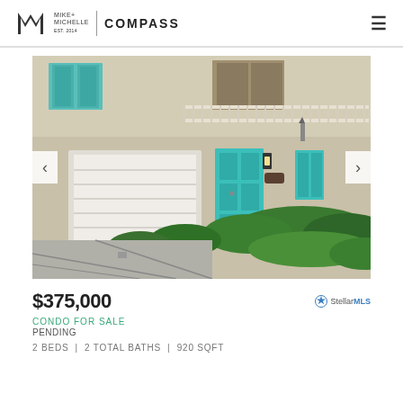Mike + Michelle | COMPASS
[Figure (photo): Exterior photo of a townhouse/condo with teal/turquoise front door, white garage door, beige stucco walls, teal shutters on upper windows, white balcony railing, and lush green hedges in front. Concrete driveway in foreground.]
$375,000
CONDO FOR SALE
PENDING
2 BEDS  |  2 TOTAL BATHS  |  920 SQFT